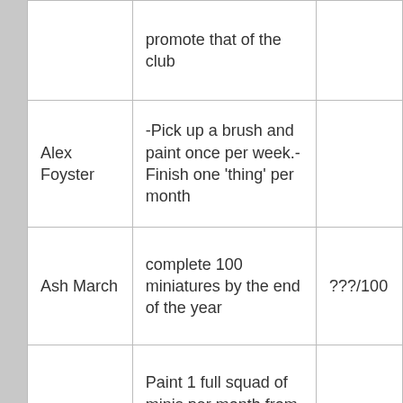| Name | Goal | Progress |
| --- | --- | --- |
|  | promote that of the club |  |
| Alex Foyster | -Pick up a brush and paint once per week.- Finish one 'thing' per month |  |
| Ash March | complete 100 miniatures by the end of the year | ???/100 |
| Biel Tan | Paint 1 full squad of minis per month from my currently owned backlog for the rest of the year. | ???/6 months |